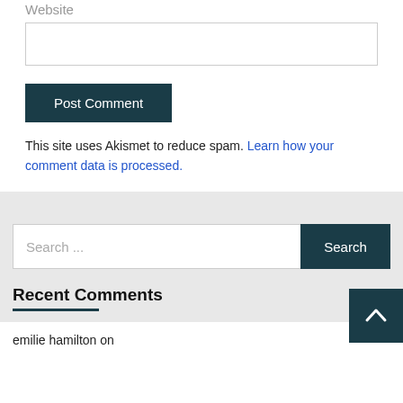Website
Post Comment
This site uses Akismet to reduce spam. Learn how your comment data is processed.
Search ...
Recent Comments
emilie hamilton on